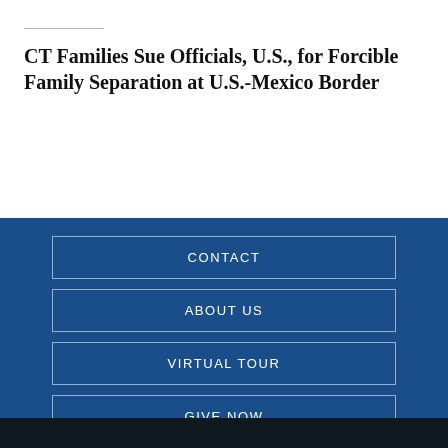CT Families Sue Officials, U.S., for Forcible Family Separation at U.S.-Mexico Border
CONTACT
ABOUT US
VIRTUAL TOUR
GIVE NOW